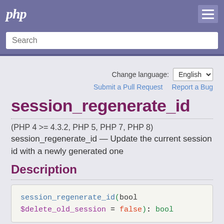php
Search
Change language: English
Submit a Pull Request    Report a Bug
session_regenerate_id
(PHP 4 >= 4.3.2, PHP 5, PHP 7, PHP 8)
session_regenerate_id — Update the current session id with a newly generated one
Description
session_regenerate_id(bool $delete_old_session = false): bool